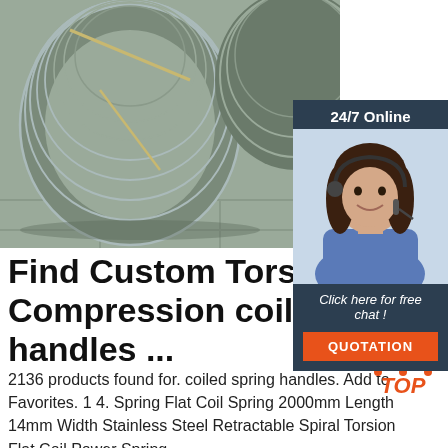[Figure (photo): Large coiled wire spring rolls/spools stacked on a floor, metallic silver color]
[Figure (photo): Customer service representative woman wearing headset, smiling, with '24/7 Online' header and 'Click here for free chat!' text, orange QUOTATION button]
Find Custom Torsion and Compression coiled spring handles ...
2136 products found for. coiled spring handles. Add to Favorites. 1 4. Spring Flat Coil Spring 2000mm Length 14mm Width Stainless Steel Retractable Spiral Torsion Flat Coil Power Spring
[Figure (logo): TOP badge with orange dots arranged in triangle pattern above orange italic TOP text]